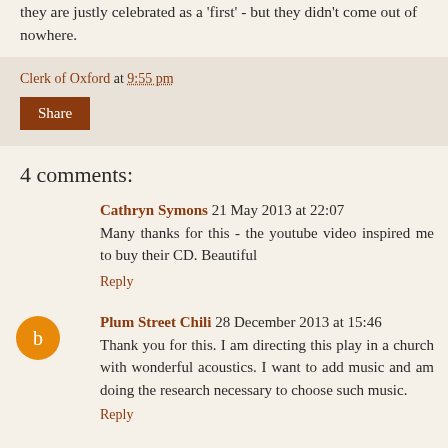they are justly celebrated as a 'first' - but they didn't come out of nowhere.
Clerk of Oxford at 9:55 pm
Share
4 comments:
Cathryn Symons 21 May 2013 at 22:07
Many thanks for this - the youtube video inspired me to buy their CD. Beautiful
Reply
Plum Street Chili 28 December 2013 at 15:46
Thank you for this. I am directing this play in a church with wonderful acoustics. I want to add music and am doing the research necessary to choose such music.
Reply